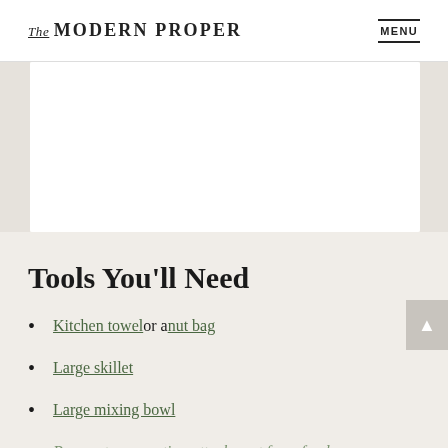The MODERN PROPER | MENU
[Figure (photo): White rectangular image placeholder block on light beige background]
Tools You'll Need
Kitchen towel or a nut bag
Large skillet
Large mixing bowl
Box grater or grating attachment for a food processor